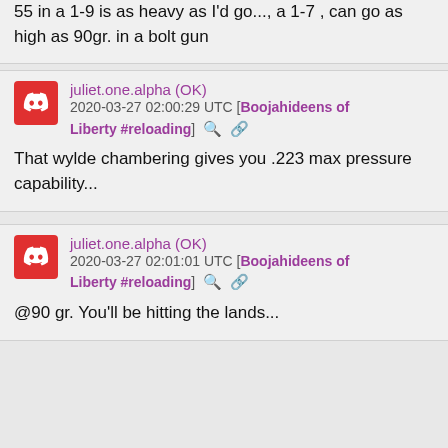55 in a 1-9 is as heavy as I'd go..., a 1-7 , can go as high as 90gr. in a bolt gun
juliet.one.alpha (OK)
2020-03-27 02:00:29 UTC [Boojahideens of Liberty #reloading]
That wylde chambering gives you .223 max pressure capability...
juliet.one.alpha (OK)
2020-03-27 02:01:01 UTC [Boojahideens of Liberty #reloading]
@90 gr. You'll be hitting the lands...